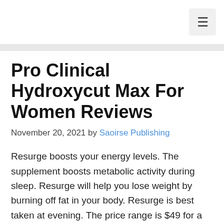≡
Pro Clinical Hydroxycut Max For Women Reviews
November 20, 2021 by Saoirse Publishing
Resurge boosts your energy levels. The supplement boosts metabolic activity during sleep. Resurge will help you lose weight by burning off fat in your body. Resurge is best taken at evening. The price range is $49 for a bottle. To buy the product, visit its official